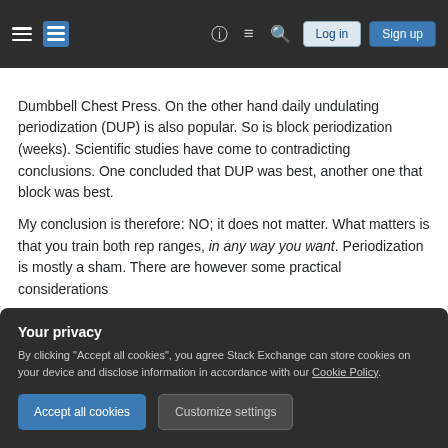Stack Exchange navigation bar with hamburger menu, logo, help, chat, search icons, Log in and Sign up buttons
Dumbbell Chest Press. On the other hand daily undulating periodization (DUP) is also popular. So is block periodization (weeks). Scientific studies have come to contradicting conclusions. One concluded that DUP was best, another one that block was best.
My conclusion is therefore: NO; it does not matter. What matters is that you train both rep ranges, in any way you want. Periodization is mostly a sham. There are however some practical considerations
Your privacy
By clicking "Accept all cookies", you agree Stack Exchange can store cookies on your device and disclose information in accordance with our Cookie Policy.